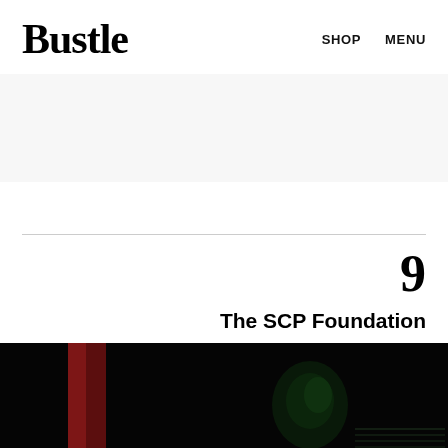Bustle   SHOP   MENU
9
The SCP Foundation
[Figure (photo): Dark, moody image with a figure partially visible in green tones against a black background, with a red vertical element on the left side.]